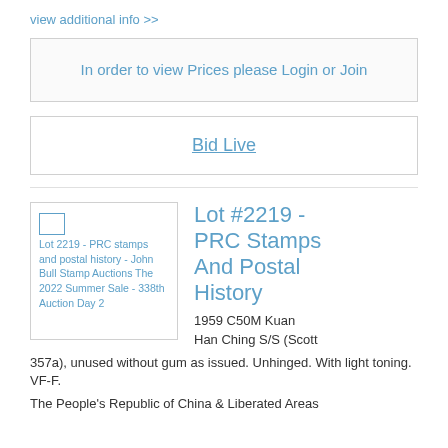view additional info >>
In order to view Prices please Login or Join
Bid Live
[Figure (other): Broken image placeholder for Lot 2219 - PRC stamps and postal history - John Bull Stamp Auctions The 2022 Summer Sale - 338th Auction Day 2]
Lot #2219 - PRC Stamps And Postal History
1959 C50M Kuan Han Ching S/S (Scott 357a), unused without gum as issued. Unhinged. With light toning. VF-F.
The People's Republic of China & Liberated Areas